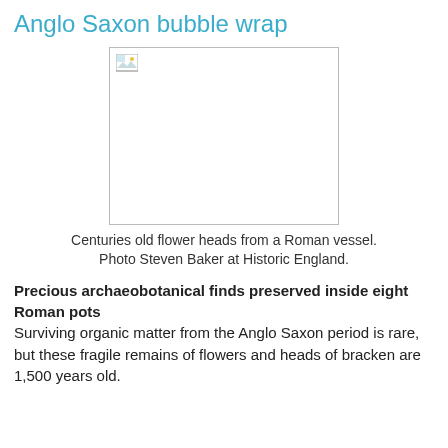Anglo Saxon bubble wrap
[Figure (photo): A broken/missing image placeholder representing centuries old flower heads from a Roman vessel.]
Centuries old flower heads from a Roman vessel. Photo Steven Baker at Historic England.
Precious archaeobotanical finds preserved inside eight Roman pots
Surviving organic matter from the Anglo Saxon period is rare, but these fragile remains of flowers and heads of bracken are 1,500 years old.